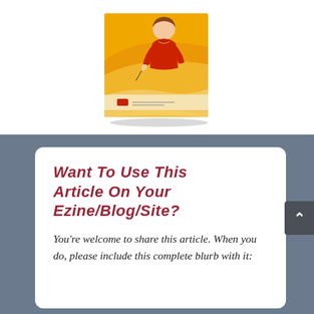[Figure (illustration): A book cover illustration showing a woman in a red top with orange and yellow flowing design elements, displayed as a 3D book/binder.]
Want To Use This Article On Your Ezine/Blog/Site?
You're welcome to share this article. When you do, please include this complete blurb with it: